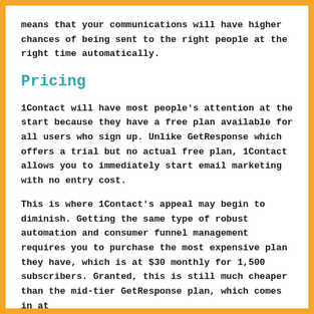means that your communications will have higher chances of being sent to the right people at the right time automatically.
Pricing
1Contact will have most people's attention at the start because they have a free plan available for all users who sign up. Unlike GetResponse which offers a trial but no actual free plan, 1Contact allows you to immediately start email marketing with no entry cost.
This is where 1Contact's appeal may begin to diminish. Getting the same type of robust automation and consumer funnel management requires you to purchase the most expensive plan they have, which is at $30 monthly for 1,500 subscribers. Granted, this is still much cheaper than the mid-tier GetResponse plan, which comes in at